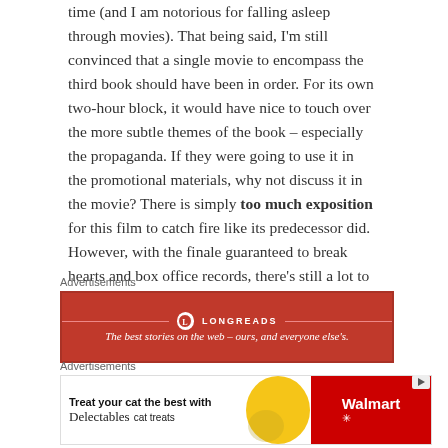time (and I am notorious for falling asleep through movies). That being said, I'm still convinced that a single movie to encompass the third book should have been in order. For its own two-hour block, it would have nice to touch over the more subtle themes of the book – especially the propaganda. If they were going to use it in the promotional materials, why not discuss it in the movie? There is simply too much exposition for this film to catch fire like its predecessor did. However, with the finale guaranteed to break hearts and box office records, there's still a lot to look forward to when the finale rolls around next November.
Advertisements
[Figure (other): Longreads advertisement banner: red background with Longreads logo and tagline 'The best stories on the web – ours, and everyone else's.']
Advertisements
[Figure (other): Walmart advertisement for Delectables cat treats with cat image, yellow and red background, showing 'Treat your cat the best with Delectables cat treats' and Walmart logo.]